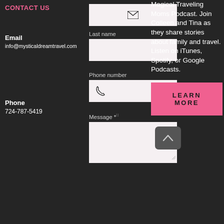CONTACT US
Email
info@mysticaldreamtravel.com
Phone
724-787-5419
[Figure (screenshot): Contact form with email icon input box, Last name field, Phone number field with phone icon, and Message textarea]
Magical Traveling Moms Podcast. Join Colleen and Tina as they share stories about family and travel. Listen on iTunes, Spotify, or Google Podcasts.
LEARN MORE
[Figure (other): Scroll to top button with up caret icon]